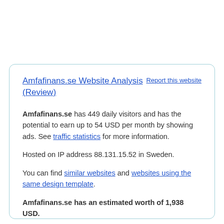Amfafinans.se Website Analysis (Review)
Report this website
Amfafinans.se has 449 daily visitors and has the potential to earn up to 54 USD per month by showing ads. See traffic statistics for more information.
Hosted on IP address 88.131.15.52 in Sweden.
You can find similar websites and websites using the same design template.
Amfafinans.se has an estimated worth of 1,938 USD.